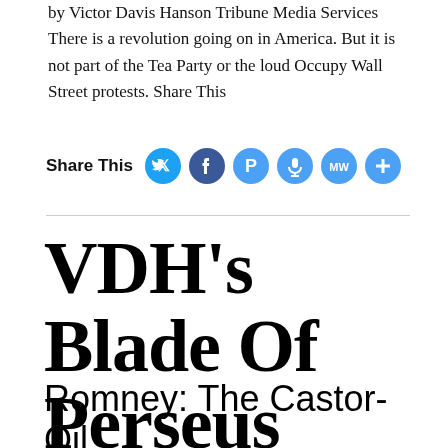by Victor Davis Hanson Tribune Media Services There is a revolution going on in America. But it is not part of the Tea Party or the loud Occupy Wall Street protests. Share This
Share This
VDH's Blade Of Perseus
Romney: The Castor-Oil Candidate